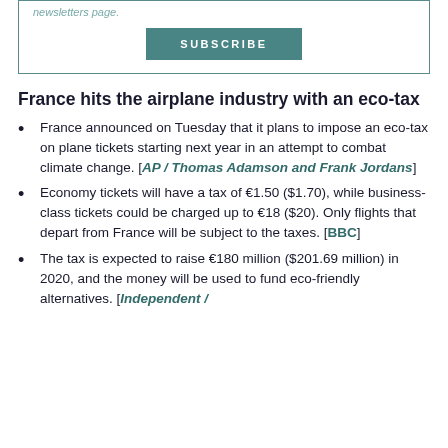newsletters page.
SUBSCRIBE
France hits the airplane industry with an eco-tax
France announced on Tuesday that it plans to impose an eco-tax on plane tickets starting next year in an attempt to combat climate change. [AP / Thomas Adamson and Frank Jordans]
Economy tickets will have a tax of €1.50 ($1.70), while business-class tickets could be charged up to €18 ($20). Only flights that depart from France will be subject to the taxes. [BBC]
The tax is expected to raise €180 million ($201.69 million) in 2020, and the money will be used to fund eco-friendly alternatives. [Independent /